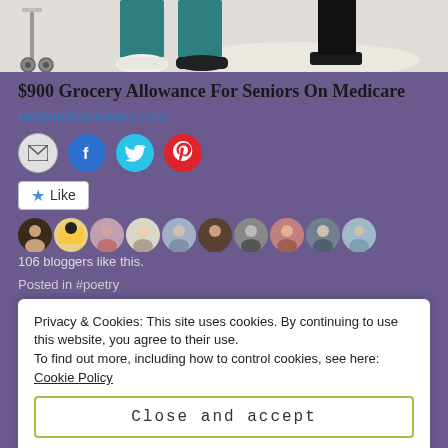[Figure (photo): Partial photo showing legs and feet of a person in teal scrubs and white sneakers, with a medical cart on the left side, on a light-colored floor.]
$900 Grocery Allowance For Seniors On Medicare
bestmedicareplans.com
[Figure (infographic): Four social share icon buttons: email (gray circle), Facebook (blue circle), Twitter (cyan circle), Pinterest (red circle).]
[Figure (infographic): A Like button with a star icon labeled 'Like', followed by a row of 10 circular avatar profile photos of bloggers.]
106 bloggers like this.
Posted in #poetry
Privacy & Cookies: This site uses cookies. By continuing to use this website, you agree to their use.
To find out more, including how to control cookies, see here: Cookie Policy
Close and accept